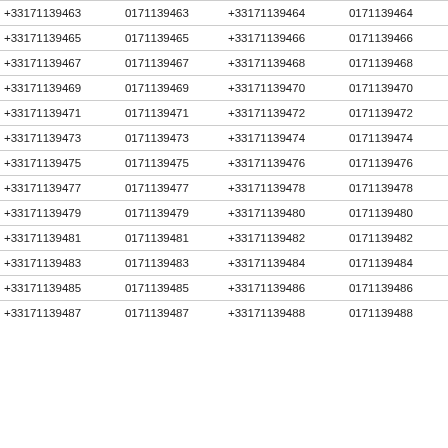| +33171139463 | 0171139463 | +33171139464 | 0171139464 |
| +33171139465 | 0171139465 | +33171139466 | 0171139466 |
| +33171139467 | 0171139467 | +33171139468 | 0171139468 |
| +33171139469 | 0171139469 | +33171139470 | 0171139470 |
| +33171139471 | 0171139471 | +33171139472 | 0171139472 |
| +33171139473 | 0171139473 | +33171139474 | 0171139474 |
| +33171139475 | 0171139475 | +33171139476 | 0171139476 |
| +33171139477 | 0171139477 | +33171139478 | 0171139478 |
| +33171139479 | 0171139479 | +33171139480 | 0171139480 |
| +33171139481 | 0171139481 | +33171139482 | 0171139482 |
| +33171139483 | 0171139483 | +33171139484 | 0171139484 |
| +33171139485 | 0171139485 | +33171139486 | 0171139486 |
| +33171139487 | 0171139487 | +33171139488 | 0171139488 |